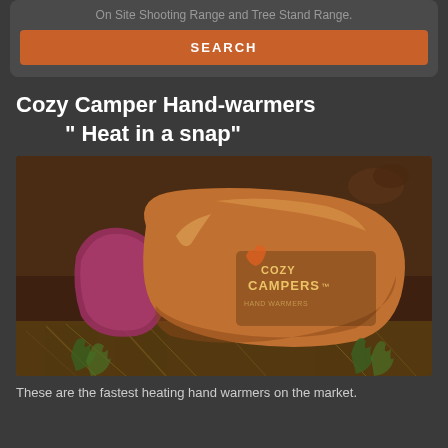On Site Shooting Range and Tree Stand Range.
SEARCH
Cozy Camper Hand-warmers " Heat in a snap"
[Figure (photo): Two orange Cozy Campers hand warmer packets resting on straw/hay with small green plants, with a pine cone visible in the dark brown background.]
These are the fastest heating hand warmers on the market.